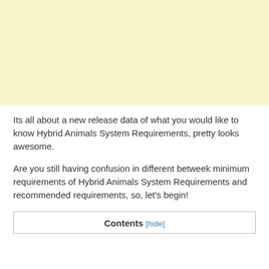[Figure (other): Yellow/cream colored advertisement or image banner at the top of the page]
Its all about a new release data of what you would like to know Hybrid Animals System Requirements, pretty looks awesome.
Are you still having confusion in different betweek minimum requirements of Hybrid Animals System Requirements and recommended requirements, so, let's begin!
Contents [hide]